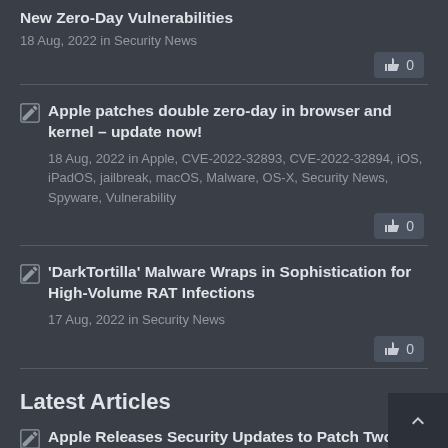New Zero-Day Vulnerabilities
18 Aug, 2022 in Security News
Apple patches double zero-day in browser and kernel – update now!
18 Aug, 2022 in Apple, CVE-2022-32893, CVE-2022-32894, iOS, iPadOS, jailbreak, macOS, Malware, OS-X, Security News, Spyware, Vulnerability
'DarkTortilla' Malware Wraps in Sophistication for High-Volume RAT Infections
17 Aug, 2022 in Security News
Latest Articles
Apple Releases Security Updates to Patch Two New Zero-Day Vulnerabilities